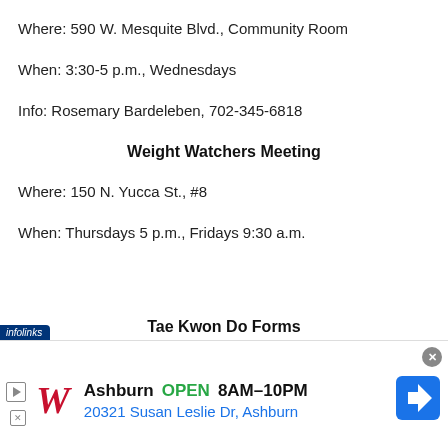Where: 590 W. Mesquite Blvd., Community Room
When: 3:30-5 p.m., Wednesdays
Info: Rosemary Bardeleben, 702-345-6818
Weight Watchers Meeting
Where: 150 N. Yucca St., #8
When: Thursdays 5 p.m., Fridays 9:30 a.m.
Tae Kwon Do Forms
[Figure (screenshot): Walgreens advertisement banner showing Ashburn location OPEN 8AM-10PM at 20321 Susan Leslie Dr, Ashburn with navigation arrow]